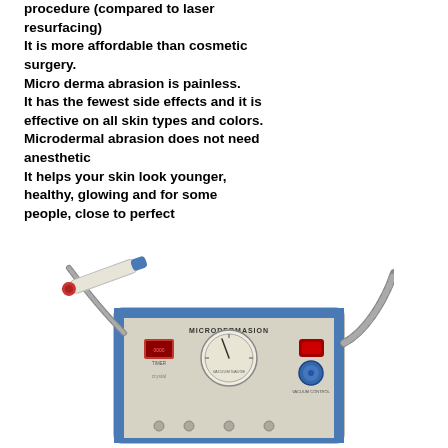procedure (compared to laser resurfacing)
It is more affordable than cosmetic surgery.
Micro derma abrasion is painless.
It has the fewest side effects and it is effective on all skin types and colors.
Microdermal abrasion does not need anesthetic
It helps your skin look younger, healthy, glowing and for some people, close to perfect
[Figure (photo): A microdermabrasion machine device with a handpiece/wand attached via a hose, control panel with gauge, knobs, and buttons. Label reads 'MICRODERMASION'.]